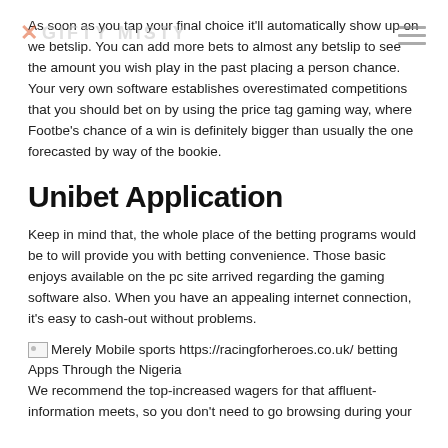As soon as you tap your final choice it'll automatically show up on we betslip. You can add more bets to almost any betslip to see the amount you wish play in the past placing a person chance. Your very own software establishes overestimated competitions that you should bet on by using the price tag gaming way, where Footbe's chance of a win is definitely bigger than usually the one forecasted by way of the bookie.
Unibet Application
Keep in mind that, the whole place of the betting programs would be to will provide you with betting convenience. Those basic enjoys available on the pc site arrived regarding the gaming software also. When you have an appealing internet connection, it's easy to cash-out without problems.
[Figure (illustration): Broken image placeholder followed by text: Merely Mobile sports https://racingforheroes.co.uk/ betting Apps Through the Nigeria]
We recommend the top-increased wagers for that affluent-information meets, so you don't need to go browsing during your